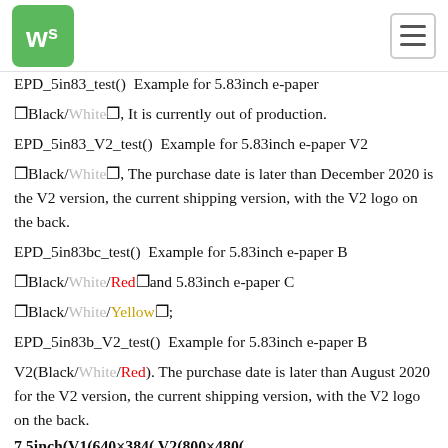Waveshare logo and navigation menu
EPD_5in83_test() Example for 5.83inch e-paper Black/White, It is currently out of production. EPD_5in83_V2_test() Example for 5.83inch e-paper V2 Black/White, The purchase date is later than December 2020 is the V2 version, the current shipping version, with the V2 logo on the back. EPD_5in83bc_test() Example for 5.83inch e-paper B Black/White/Red and 5.83inch e-paper C Black/White/Yellow; EPD_5in83b_V2_test() Example for 5.83inch e-paper B V2 Black/White/Red). The purchase date is later than August 2020 for the V2 version, the current shipping version, with the V2 logo on the back.
7.5inch V1 640×384 V2 800×480